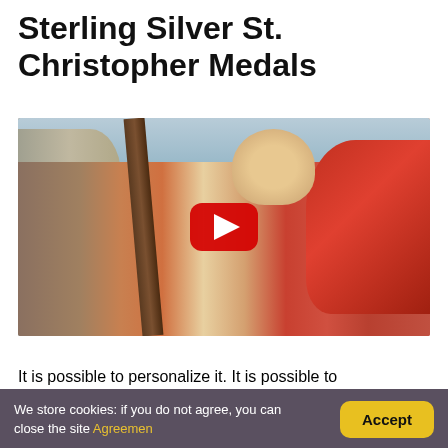Sterling Silver St. Christopher Medals
[Figure (photo): YouTube video thumbnail showing a classical painting of St. Christopher carrying a child on his shoulders, with a red play button overlay]
It is possible to personalize it. It is possible to
We store cookies: if you do not agree, you can close the site Agreemen Accept